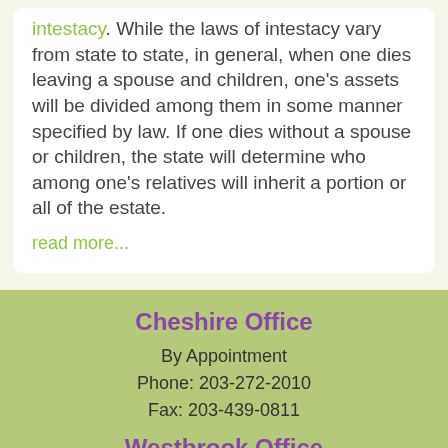intestacy. While the laws of intestacy vary from state to state, in general, when one dies leaving a spouse and children, one's assets will be divided among them in some manner specified by law. If one dies without a spouse or children, the state will determine who among one's relatives will inherit a portion or all of the estate.
read more...
Cheshire Office
By Appointment
Phone: 203-272-2010
Fax: 203-439-0811
Westbrook Office